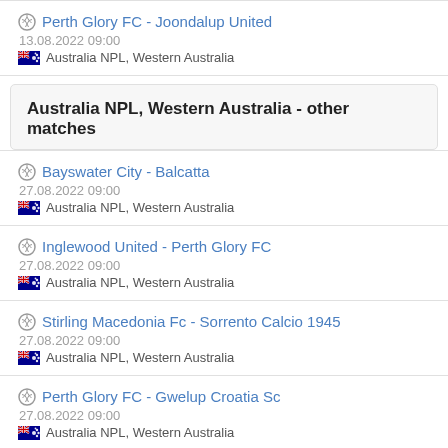Perth Glory FC - Joondalup United
13.08.2022 09:00
Australia NPL, Western Australia
Australia NPL, Western Australia - other matches
Bayswater City - Balcatta
27.08.2022 09:00
Australia NPL, Western Australia
Inglewood United - Perth Glory FC
27.08.2022 09:00
Australia NPL, Western Australia
Stirling Macedonia Fc - Sorrento Calcio 1945
27.08.2022 09:00
Australia NPL, Western Australia
Perth Glory FC - Gwelup Croatia Sc
27.08.2022 09:00
Australia NPL, Western Australia